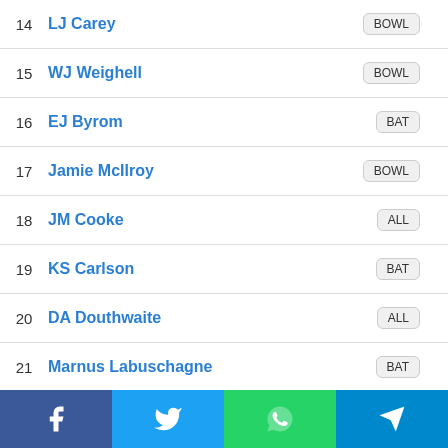14 LJ Carey BOWL
15 WJ Weighell BOWL
16 EJ Byrom BAT
17 Jamie McIlroy BOWL
18 JM Cooke ALL
19 KS Carlson BAT
20 DA Douthwaite ALL
21 Marnus Labuschagne BAT
22 P Sisodiya BOWL
23 Callum Taylor ALL
24 Alex Horton WK
[Figure (infographic): Social media share buttons: Facebook, Twitter, WhatsApp, Telegram]